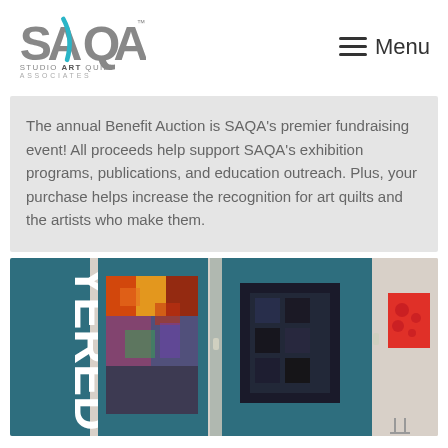[Figure (logo): SAQA - Studio Art Quilt Associates logo with teal and gray coloring]
Menu
The annual Benefit Auction is SAQA's premier fundraising event! All proceeds help support SAQA's exhibition programs, publications, and education outreach. Plus, your purchase helps increase the recognition for art quilts and the artists who make them.
[Figure (photo): Gallery interior showing teal display panels with colorful art quilts mounted on them, including an abstract multicolored quilt, a dark textured square piece, and a red floral piece on the wall]